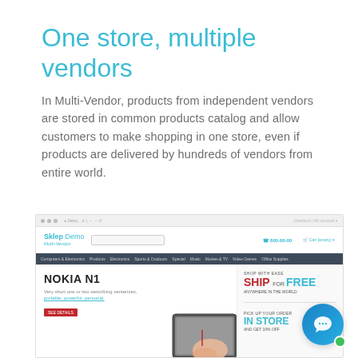One store, multiple vendors
In Multi-Vendor, products from independent vendors are stored in common products catalog and allow customers to make shopping in one store, even if products are delivered by hundreds of vendors from entire world.
[Figure (screenshot): Screenshot of a Multi-Vendor e-commerce store demo called 'Sklep Demo' showing a Nokia N1 product banner and promotional banners for 'Ship for Free' and 'Pick up your order In Store', with navigation menu and Vendors/Hot deals sections at the bottom.]